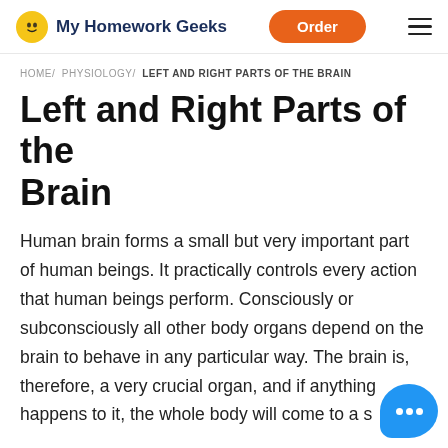My Homework Geeks — Order
HOME/ PHYSIOLOGY/ LEFT AND RIGHT PARTS OF THE BRAIN
Left and Right Parts of the Brain
Human brain forms a small but very important part of human beings. It practically controls every action that human beings perform. Consciously or subconsciously all other body organs depend on the brain to behave in any particular way. The brain is, therefore, a very crucial organ, and if anything happens to it, the whole body will come to a s…